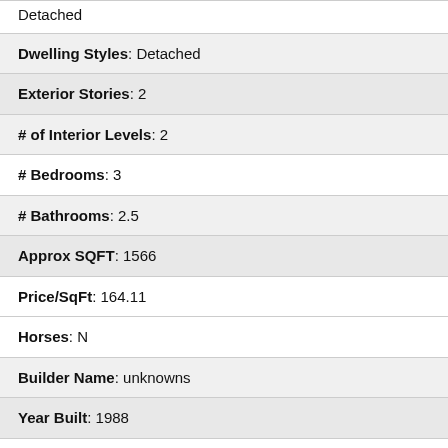| Dwelling Type: Single Family Detached (partial) |
| Dwelling Styles: Detached |
| Exterior Stories: 2 |
| # of Interior Levels: 2 |
| # Bedrooms: 3 |
| # Bathrooms: 2.5 |
| Approx SQFT: 1566 |
| Price/SqFt: 164.11 |
| Horses: N |
| Builder Name: unknowns |
| Year Built: 1988 |
| Approx Lot SqFt: 5458 |
| Pool: Community Only |
| Planned Comm Name: Mountain Park (partial) |